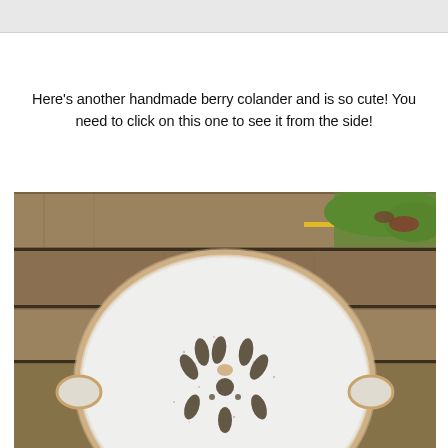Here's another handmade berry colander and is so cute! You need to click on this one to see it from the side!
[Figure (photo): Top-down view of a handmade white speckled ceramic berry colander with decorative flower-shaped cutout holes, sitting on a weathered wooden surface with grass visible in the background. The colander has small ear-like handles on the sides and a natural clay-colored rim.]